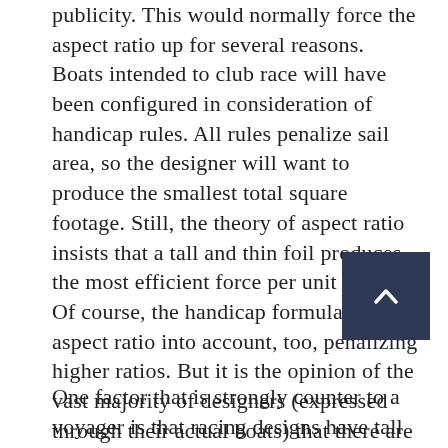publicity. This would normally force the aspect ratio up for several reasons. Boats intended to club race will have been configured in consideration of handicap rules. All rules penalize sail area, so the designer will want to produce the smallest total square footage. Still, the theory of aspect ratio insists that a tall and thin foil produces the most efficient force per unit of area. Of course, the handicap formula takes aspect ratio into account, too, penalizing higher ratios. But it is the opinion of the vast majority of designers (expressed through their actual boats) that there are other factors, the wind gradient being just one example, which conspire toward the desirability of high aspect ratio.
One factor that is strongly counter to a voyager is that racing designs have tall rigs with the